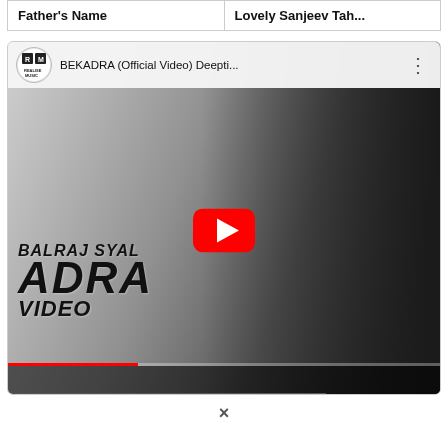| Father's Name | Lovely Sanjeev Tah... |
[Figure (screenshot): YouTube video embed thumbnail for 'BEKADRA (Official Video) Deepti...' by Realise Music channel, featuring Balraj Syal and a woman, with large text 'BALRAJ SYAL', 'ADRA', 'VIDEO' and a red YouTube play button in the center.]
×